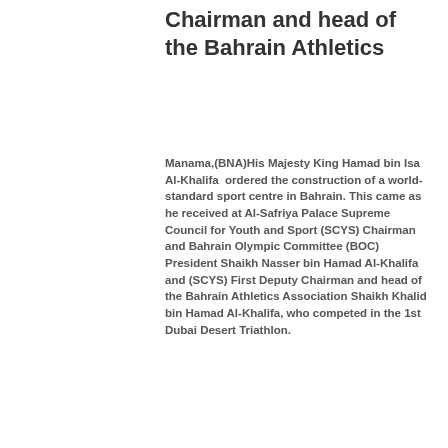Chairman and head of the Bahrain Athletics
Manama,(BNA)His Majesty King Hamad bin Isa Al-Khalifa  ordered the construction of a world-standard sport centre in Bahrain. This came as he received at Al-Safriya Palace Supreme Council for Youth and Sport (SCYS) Chairman and Bahrain Olympic Committee (BOC) President Shaikh Nasser bin Hamad Al-Khalifa and (SCYS) First Deputy Chairman and head of the Bahrain Athletics Association Shaikh Khalid bin Hamad Al-Khalifa, who competed in the 1st Dubai Desert Triathlon.